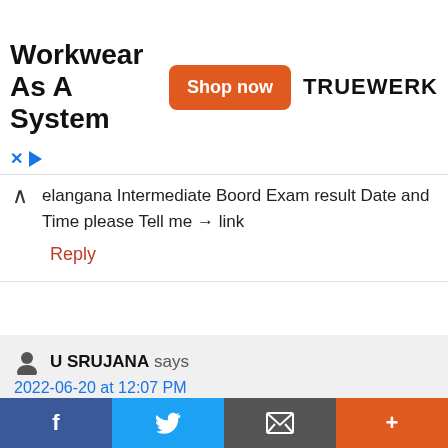[Figure (screenshot): Advertisement banner for Truewerk workwear with 'Shop now' button]
elangana Intermediate Boord Exam result Date and Time please Tell me 🡒 link
Reply
U SRUJANA says
2022-06-20 at 12:07 PM
I want first year result
[Figure (screenshot): Social sharing bar with Facebook, Twitter, Email, and More buttons]